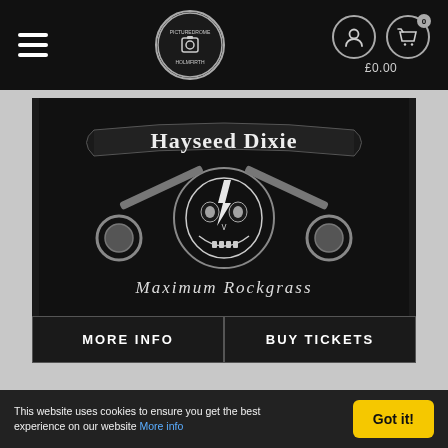Pictureddrome Holmfirth navigation bar with hamburger menu, logo, user icon, basket icon, £0.00
[Figure (logo): Hayseed Dixie band logo — gothic banner text 'Hayseed Dixie' over a skull with crossed banjos and lightning bolt, subtitle 'Maximum Rockgrass', dark background]
MORE INFO
BUY TICKETS
LEO SAYER
08 OCT SAT
This website uses cookies to ensure you get the best experience on our website More info
Got it!